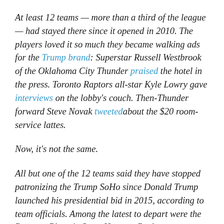At least 12 teams — more than a third of the league — had stayed there since it opened in 2010. The players loved it so much they became walking ads for the Trump brand: Superstar Russell Westbrook of the Oklahoma City Thunder praised the hotel in the press. Toronto Raptors all-star Kyle Lowry gave interviews on the lobby's couch. Then-Thunder forward Steve Novak tweeted about the $20 room-service lattes.
Now, it's not the same.
All but one of the 12 teams said they have stopped patronizing the Trump SoHo since Donald Trump launched his presidential bid in 2015, according to team officials. Among the latest to depart were the Raptors, Phoenix Suns, Houston Rockets, Sacramento Kings and Washington Wizards, who all dropped Trump SoHo this